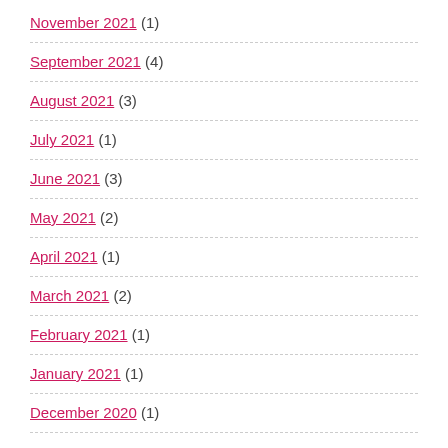November 2021 (1)
September 2021 (4)
August 2021 (3)
July 2021 (1)
June 2021 (3)
May 2021 (2)
April 2021 (1)
March 2021 (2)
February 2021 (1)
January 2021 (1)
December 2020 (1)